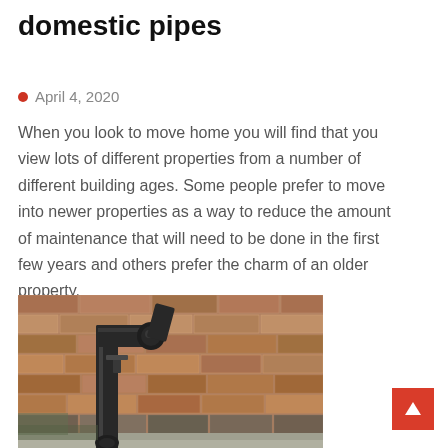domestic pipes
April 4, 2020
When you look to move home you will find that you view lots of different properties from a number of different building ages. Some people prefer to move into newer properties as a way to reduce the amount of maintenance that will need to be done in the first few years and others prefer the charm of an older property.
[Figure (photo): Close-up photograph of old black cast iron domestic pipes attached to a brick wall exterior]
[Figure (other): Back to top arrow button (red square with upward arrow icon)]